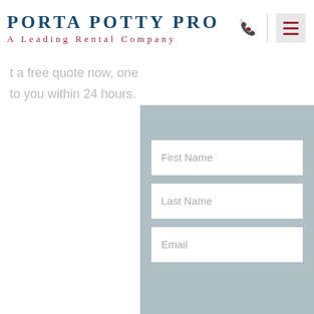[Figure (logo): Porta Potty Pro logo with company name and tagline 'A Leading Rental Company']
t a free quote now, one
to you within 24 hours.
[Figure (screenshot): Contact form with fields: First Name, Last Name, Email on a gray background panel]